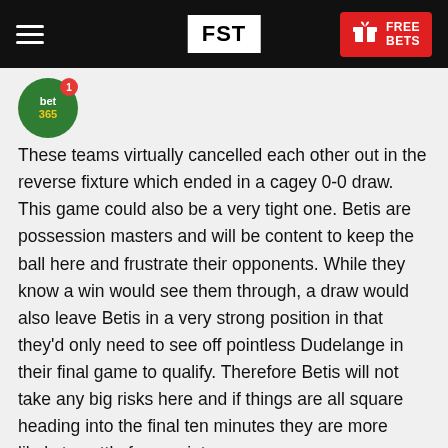FST | FREE BETS
[Figure (logo): bet365 circular green logo with notification badge]
These teams virtually cancelled each other out in the reverse fixture which ended in a cagey 0-0 draw. This game could also be a very tight one. Betis are possession masters and will be content to keep the ball here and frustrate their opponents. While they know a win would see them through, a draw would also leave Betis in a very strong position in that they'd only need to see off pointless Dudelange in their final game to qualify. Therefore Betis will not take any big risks here and if things are all square heading into the final ten minutes they are more likely to settle for a point.
The same may go for Olympiakos to some extent. They'd then just need to beat Milan to qualify on the